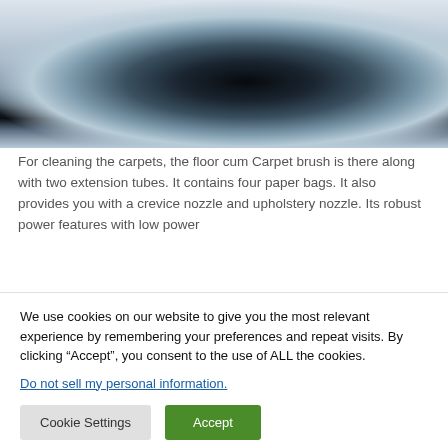[Figure (photo): A blurred product photo with a dark oval shape (possibly a vacuum cleaner head or brush) against a light blue-grey background.]
For cleaning the carpets, the floor cum Carpet brush is there along with two extension tubes. It contains four paper bags. It also provides you with a crevice nozzle and upholstery nozzle. Its robust power features with low power
We use cookies on our website to give you the most relevant experience by remembering your preferences and repeat visits. By clicking “Accept”, you consent to the use of ALL the cookies.
Do not sell my personal information.